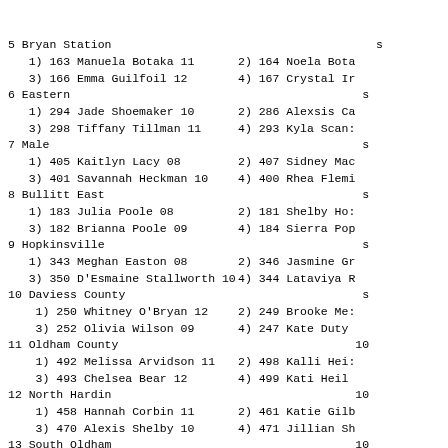5 Bryan Station
   1) 163 Manuela Botaka 11
   3) 166 Emma Guilfoil 12
2) 164 Noela Bota...
4) 167 Crystal Ir...
6 Eastern
   1) 294 Jade Shoemaker 10
   3) 298 Tiffany Tillman 11
2) 286 Alexsis Ca...
4) 293 Kyla Scan...
7 Male
   1) 405 Kaitlyn Lacy 08
   3) 401 Savannah Heckman 10
2) 407 Sidney Mac...
4) 400 Rhea Flemi...
8 Bullitt East
   1) 183 Julia Poole 08
   3) 182 Brianna Poole 09
2) 181 Shelby Ho...
4) 184 Sierra Pop...
9 Hopkinsville
   1) 343 Meghan Easton 08
   3) 350 D'Esmaine Stallworth 10
2) 346 Jasmine Gr...
4) 344 Lataviya R...
10 Daviess County
    1) 250 Whitney O'Bryan 12
    3) 252 Olivia Wilson 09
2) 249 Brooke Me...
4) 247 Kate Duty ...
11 Oldham County
    1) 492 Melissa Arvidson 11
    3) 493 Chelsea Bear 12
2) 498 Kalli Hei...
4) 499 Kati Heil ...
12 North Hardin
    1) 458 Hannah Corbin 11
    3) 470 Alexis Shelby 10
2) 461 Katie Gilb...
4) 471 Jillian Sh...
13 South Oldham
    1) 629 Keightley Dudgeon 12
    3) 631 Hallie Searcy 09
2) 633 Marqueritt...
4) 632 Haley Webb...
14 Tates Creek
    1) 638 Emma Anderson 12
    3) 645 Maddie Covey 09
2) 652 Ashley Wha...
4) 649 Mayah Pluc...